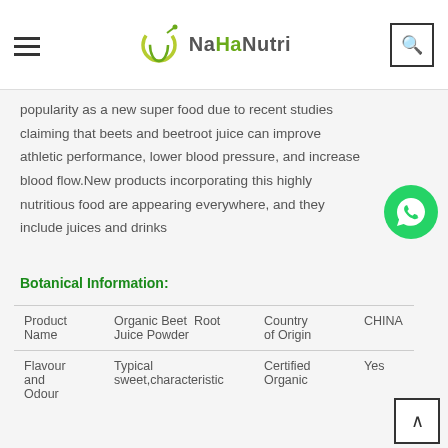NaHaNutri
popularity as a new super food due to recent studies claiming that beets and beetroot juice can improve athletic performance, lower blood pressure, and increase blood flow.New products incorporating this highly nutritious food are appearing everywhere, and they include juices and drinks
Botanical Information:
| Product Name | Organic Beet Root Juice Powder | Country of Origin | CHINA |
| --- | --- | --- | --- |
| Flavour and Odour | Typical sweet,characteristic | Certified Organic | Yes |